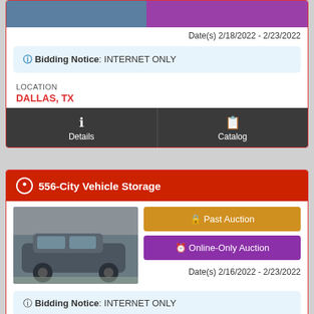Date(s) 2/18/2022 - 2/23/2022
Bidding Notice: INTERNET ONLY
LOCATION
DALLAS, TX
Details
Catalog
556-City Vehicle Storage
[Figure (photo): Gray sedan/hatchback vehicle parked outdoors]
Past Auction
Online-Only Auction
Date(s) 2/16/2022 - 2/23/2022
Bidding Notice: INTERNET ONLY